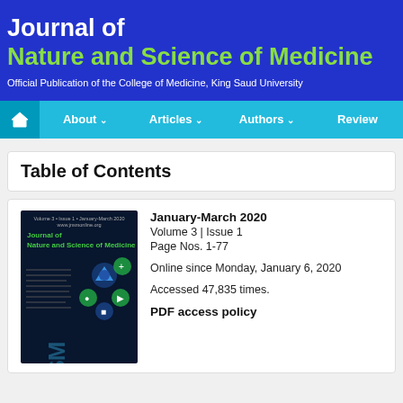Journal of Nature and Science of Medicine
Official Publication of the College of Medicine, King Saud University
[Figure (screenshot): Navigation bar with home icon, About, Articles, Authors, Review menu items on cyan background]
Table of Contents
[Figure (photo): Journal cover image for January-March 2020 Volume 3 Issue 1 showing dark blue background with green hexagonal medical icons]
January-March 2020
Volume 3 | Issue 1
Page Nos. 1-77
Online since Monday, January 6, 2020
Accessed 47,835 times.
PDF access policy